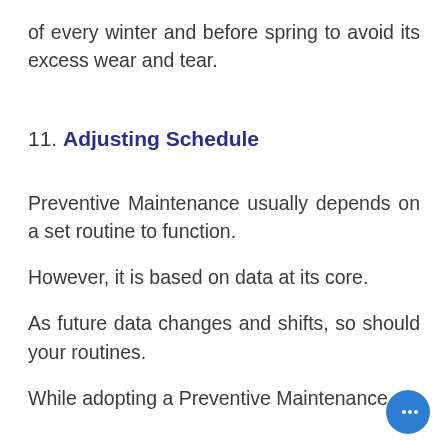of every winter and before spring to avoid its excess wear and tear.
11. Adjusting Schedule
Preventive Maintenance usually depends on a set routine to function.
However, it is based on data at its core.
As future data changes and shifts, so should your routines.
While adopting a Preventive Maintenance